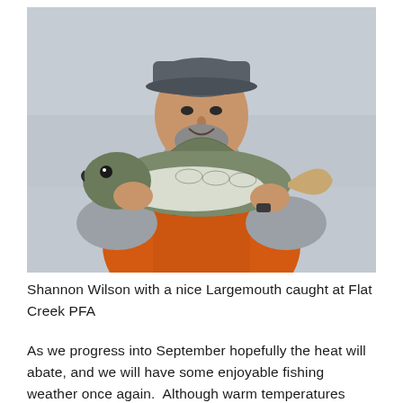[Figure (photo): A man wearing a gray cap, gray long-sleeve shirt, and orange life vest holds up a large Largemouth Bass fish with both hands. The background is an overcast gray sky. The man has a beard and is smiling.]
Shannon Wilson with a nice Largemouth caught at Flat Creek PFA
As we progress into September hopefully the heat will abate, and we will have some enjoyable fishing weather once again.  Although warm temperatures have kept many fishermen away, those that tried